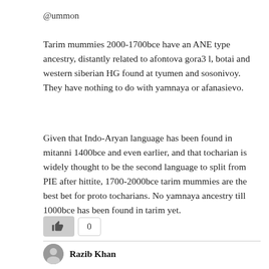@ummon
Tarim mummies 2000-1700bce have an ANE type ancestry, distantly related to afontova gora3 l, botai and western siberian HG found at tyumen and sosonivoy. They have nothing to do with yamnaya or afanasievo.
Given that Indo-Aryan language has been found in mitanni 1400bce and even earlier, and that tocharian is widely thought to be the second language to split from PIE after hittite, 1700-2000bce tarim mummies are the best bet for proto tocharians. No yamnaya ancestry till 1000bce has been found in tarim yet.
[Figure (other): Like button with thumbs-up icon (greyed out) and a count box showing 0]
Razib Khan